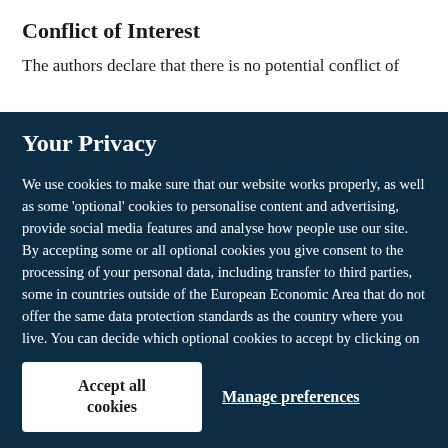Conflict of Interest
The authors declare that there is no potential conflict of
Your Privacy
We use cookies to make sure that our website works properly, as well as some 'optional' cookies to personalise content and advertising, provide social media features and analyse how people use our site. By accepting some or all optional cookies you give consent to the processing of your personal data, including transfer to third parties, some in countries outside of the European Economic Area that do not offer the same data protection standards as the country where you live. You can decide which optional cookies to accept by clicking on 'Manage Settings', where you can also find more information about how your personal data is processed. Further information can be found in our privacy policy.
Accept all cookies
Manage preferences